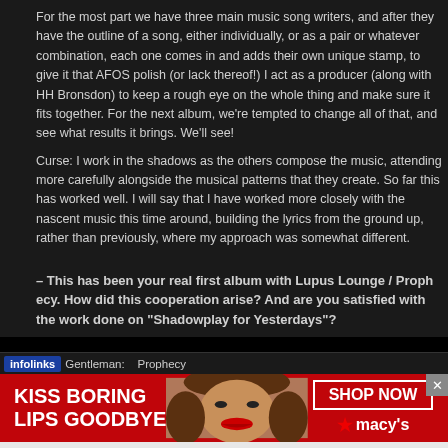For the most part we have three main music song writers, and after they outline of a song, either individually, or as a pair or whatever combination, in and adds their own unique stamp, to give it that AFOS polish (or lack a producer (along with HH Bronsdon) to keep a rough eye on the whole fits together. For the next album, we're tempted to change all of that, and results it brings. We'll see!
Curse: I work in the shadows as the others compose the music, attending alongside the musical patterns that they create. So far this has worked that I have worked more closely with the nascent music this time around from the ground up, rather than previously, where my approach was so
– This has been your real first album with Lupus Lounge / Prophecy. How did this cooperation arise? And are you satisfied with the work done on "Shadowplay for Yesterdays"?
infolinks  Gentleman:    Prophecy
[Figure (photo): Advertisement banner showing a woman's face with red lips, text 'KISS BORING LIPS GOODBYE', 'SHOP NOW' button, and Macy's star logo]